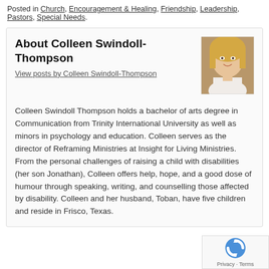Posted in Church, Encouragement & Healing, Friendship, Leadership, Pastors, Special Needs.
About Colleen Swindoll-Thompson
View posts by Colleen Swindoll-Thompson
[Figure (photo): Headshot photo of Colleen Swindoll-Thompson, a blonde woman in a white top]
Colleen Swindoll Thompson holds a bachelor of arts degree in Communication from Trinity International University as well as minors in psychology and education. Colleen serves as the director of Reframing Ministries at Insight for Living Ministries. From the personal challenges of raising a child with disabilities (her son Jonathan), Colleen offers help, hope, and a good dose of humour through speaking, writing, and counselling those affected by disability. Colleen and her husband, Toban, have five children and reside in Frisco, Texas.
[Figure (logo): reCAPTCHA badge with Privacy and Terms links]